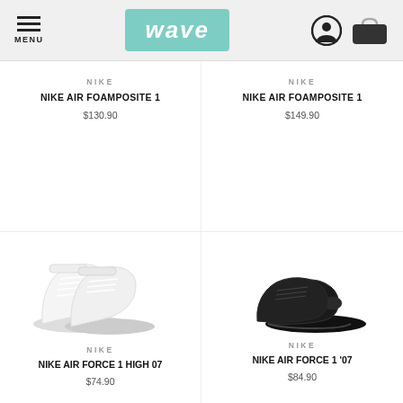[Figure (screenshot): Wave store header with hamburger menu, teal Wave logo, user icon and bag icon]
NIKE
NIKE AIR FOAMPOSITE 1
$130.90
NIKE
NIKE AIR FOAMPOSITE 1
$149.90
[Figure (photo): White Nike Air Force 1 High 07 sneakers, pair shown from side angle]
[Figure (photo): Black Nike Air Force 1 '07 sneakers, pair shown from side angle]
NIKE
NIKE AIR FORCE 1 HIGH 07
$74.90
NIKE
NIKE AIR FORCE 1 '07
$84.90